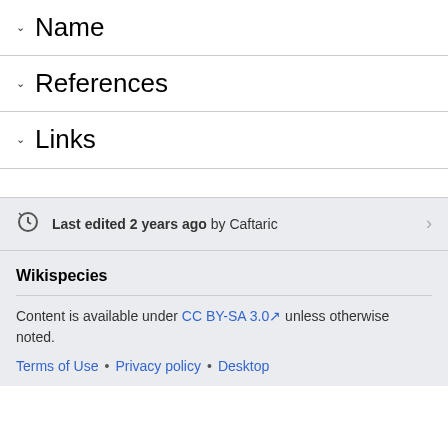Name
References
Links
Last edited 2 years ago by Caftaric
Wikispecies
Content is available under CC BY-SA 3.0 unless otherwise noted.
Terms of Use • Privacy policy • Desktop